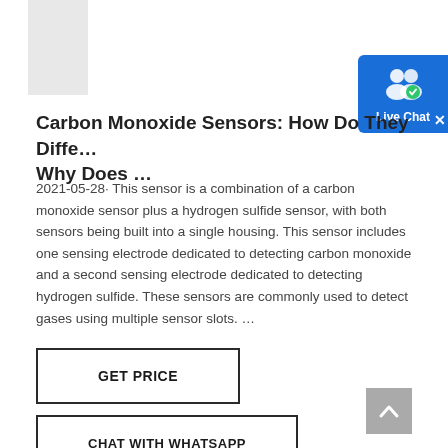Carbon Monoxide Sensors: How Do They Diffe… Why Does …
2021-05-28· This sensor is a combination of a carbon monoxide sensor plus a hydrogen sulfide sensor, with both sensors being built into a single housing. This sensor includes one sensing electrode dedicated to detecting carbon monoxide and a second sensing electrode dedicated to detecting hydrogen sulfide. These sensors are commonly used to detect gases using multiple sensor slots. …
[Figure (other): GET PRICE button with dark border]
[Figure (other): CHAT WITH WHATSAPP button with dark border]
[Figure (other): Scroll to top arrow button (grey)]
[Figure (other): Live Chat widget with user icon and blue background]